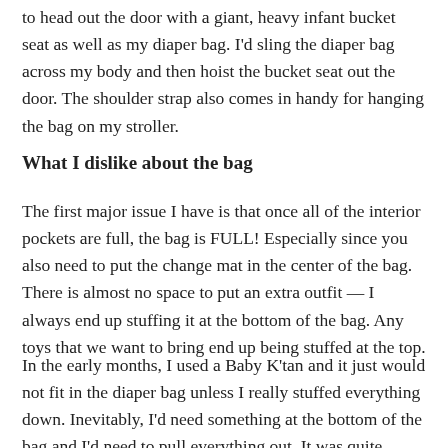to head out the door with a giant, heavy infant bucket seat as well as my diaper bag.  I'd sling the diaper bag across my body and then hoist the bucket seat out the door.  The shoulder strap also comes in handy for hanging the bag on my stroller.
What I dislike about the bag
The first major issue I have is that once all of the interior pockets are full, the bag is FULL!  Especially since you also need to put the change mat in the center of the bag.  There is almost no space to put an extra outfit — I always end up stuffing it at the bottom of the bag.  Any toys that we want to bring end up being stuffed at the top.
In the early months, I used a Baby K'tan and it just would not fit in the diaper bag unless I really stuffed everything down.  Inevitably, I'd need something at the bottom of the bag and I'd need to pull everything out.  It was quite annoying!
Also, my phone has fallen out of the magnetic closure pocket on